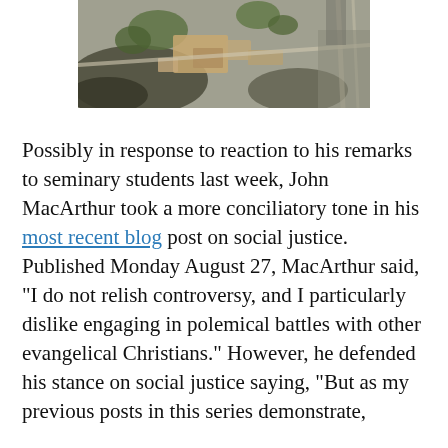[Figure (photo): Aerial photograph of a campus or institutional building complex with trees, roads, and grounds, shown in a mix of color and greyscale tones.]
Possibly in response to reaction to his remarks to seminary students last week, John MacArthur took a more conciliatory tone in his most recent blog post on social justice. Published Monday August 27, MacArthur said, “I do not relish controversy, and I particularly dislike engaging in polemical battles with other evangelical Christians.” However, he defended his stance on social justice saying, “But as my previous posts in this series demonstrate,